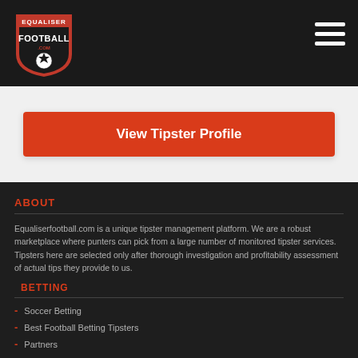[Figure (logo): Equaliser Football logo with shield, soccer ball and text]
View Tipster Profile
ABOUT
Equaliserfootball.com is a unique tipster management platform. We are a robust marketplace where punters can pick from a large number of monitored tipster services. Tipsters here are selected only after thorough investigation and profitability assessment of actual tips they provide to us.
BETTING
Soccer Betting
Best Football Betting Tipsters
Partners